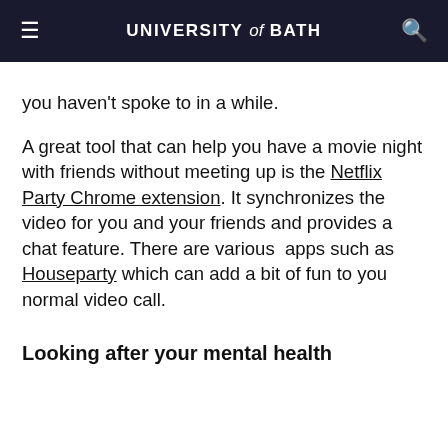UNIVERSITY of BATH
you haven't spoke to in a while.
A great tool that can help you have a movie night with friends without meeting up is the Netflix Party Chrome extension. It synchronizes the video for you and your friends and provides a chat feature. There are various apps such as Houseparty which can add a bit of fun to you normal video call.
Looking after your mental health